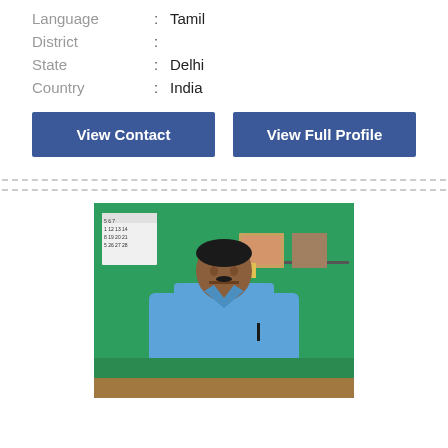Language : Tamil
District :
State : Delhi
Country : India
View Contact
View Full Profile
[Figure (photo): Profile photo of a man wearing a blue shirt, standing in front of a green wall with a calendar and shelves visible in the background.]